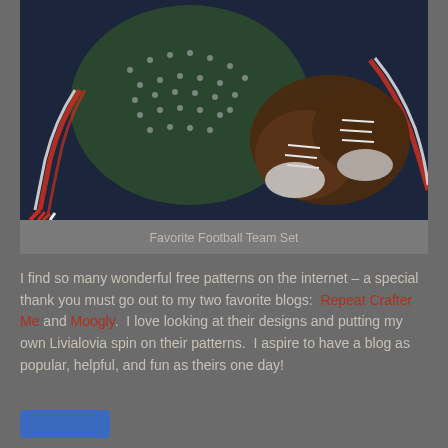[Figure (photo): Crocheted baby hat in green and white with red and white braided tassels, alongside crocheted brown baby shoes with white laces, on a blue background — a Favorite Football Team Set.]
Favorite Football Team Set
I find so many wonderful free patterns on the internet – a special thank you must go out to my two favorite blogs:  Repeat Crafter Me and Moogly.  I love looking at their designs and putting my own Livialovia spin on their patterns.  I aspire to have a blog as popular, helpful, and fun as theirs one day!